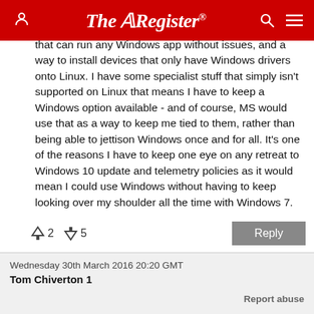The Register
I agreed. However, the only things that make me annoyed in Linux is the lack of a fully working WINE that can run any Windows app without issues, and a way to install devices that only have Windows drivers onto Linux. I have some specialist stuff that simply isn't supported on Linux that means I have to keep a Windows option available - and of course, MS would use that as a way to keep me tied to them, rather than being able to jettison Windows once and for all. It's one of the reasons I have to keep one eye on any retreat to Windows 10 update and telemetry policies as it would mean I could use Windows without having to keep looking over my shoulder all the time with Windows 7.
↑2  ↓5   Reply
Wednesday 30th March 2016 20:20 GMT
Tom Chiverton 1
Report abuse